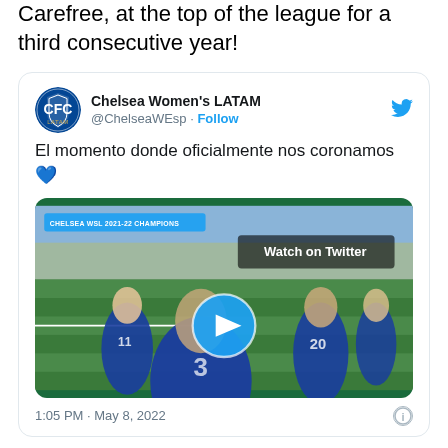Carefree, at the top of the league for a third consecutive year!
[Figure (screenshot): Tweet from Chelsea Women's LATAM (@ChelseaWEsp) with Follow button and Twitter bird logo. Text reads: 'El momento donde oficialmente nos coronamos 💙'. Contains a video thumbnail showing Chelsea Women players celebrating on the pitch with 'CHELSEA WSL 2021-22 CHAMPIONS' banner and 'Watch on Twitter' overlay with play button. Timestamp: 1:05 PM · May 8, 2022.]